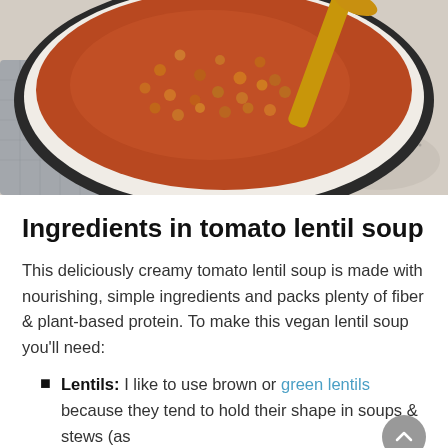[Figure (photo): Overhead photo of a white pot or bowl of tomato lentil soup with a wooden spoon, set on a light marble surface with a grey linen cloth.]
Ingredients in tomato lentil soup
This deliciously creamy tomato lentil soup is made with nourishing, simple ingredients and packs plenty of fiber & plant-based protein. To make this vegan lentil soup you'll need:
Lentils: I like to use brown or green lentils because they tend to hold their shape in soups & stews (as